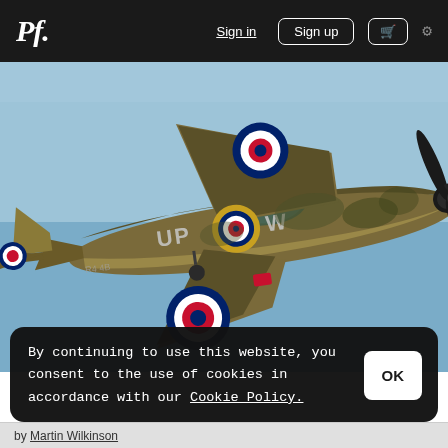Pf. Sign in Sign up
[Figure (photo): A WWII-era Hawker Hurricane fighter aircraft in desert camouflage paint scheme (brown/green/tan), with RAF roundel markings on wings and fuselage, code letters 'UP W' on the fuselage, flying against a light blue sky.]
By continuing to use this website, you consent to the use of cookies in accordance with our Cookie Policy.
by Martin Wilkinson